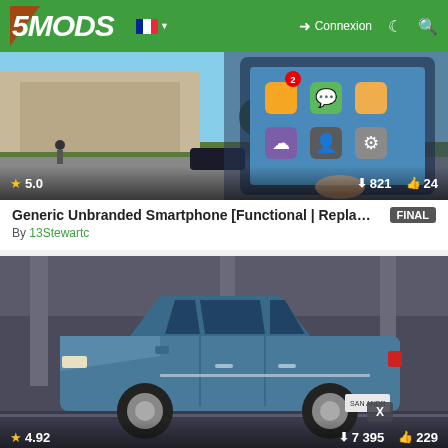5MODS — Connexion
[Figure (screenshot): GTA 5 mod screenshot showing city street scene and smartphone UI overlay with app icons, star rating 5.0, 821 downloads, 24 likes]
Generic Unbranded Smartphone [Functional | Repla... FINAL
By 13Stewartc
[Figure (screenshot): GTA 5 mod screenshot showing blue Ubermacht Sentinel SG3 car in parking lot, star rating 4.92, 7 395 downloads, 229 likes]
Ubermacht Sentinel SG3 Pack [Add-On | Tuning | W... SP/1.0